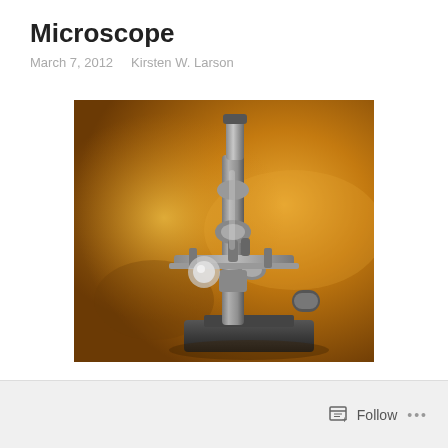Microscope
March 7, 2012   Kirsten W. Larson
[Figure (photo): A vintage brass/chrome microscope photographed against a warm golden-brown background with dramatic lighting from the left side, showing the eyepiece at top, arm, stage, and base of the instrument.]
Follow   ...